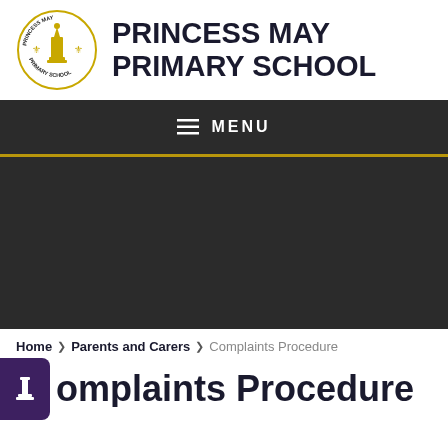[Figure (logo): Princess May Primary School circular logo with gold monument/chess piece and fleur-de-lis decorations]
PRINCESS MAY PRIMARY SCHOOL
MENU
Home › Parents and Carers › Complaints Procedure
Complaints Procedure